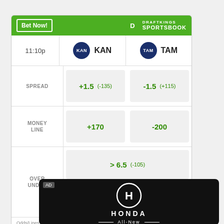[Figure (other): DraftKings Sportsbook betting widget showing odds for KAN vs TAM. Header shows 'Bet Now!' button and DraftKings Sportsbook logo. Game time 11:10p. Spread: KAN +1.5 (-135), TAM -1.5 (+115). Money Line: KAN +170, TAM -200. Over/Under: > 6.5 (-105), < 6.5 (-115). Disclaimer: 'Odds/Lines subject to change. See draftkings.com for details.']
[Figure (logo): Honda advertisement on black background showing Honda H logo, HONDA text, and 'All-New' text with decorative lines]